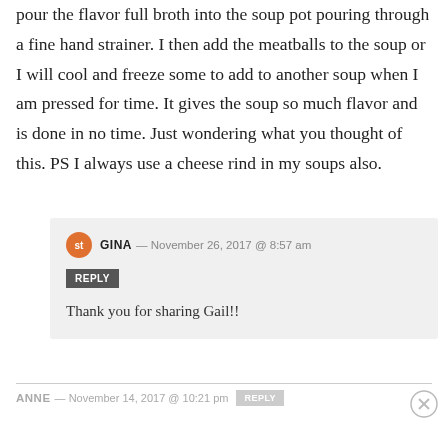pour the flavor full broth into the soup pot pouring through a fine hand strainer. I then add the meatballs to the soup or I will cool and freeze some to add to another soup when I am pressed for time. It gives the soup so much flavor and is done in no time. Just wondering what you thought of this. PS I always use a cheese rind in my soups also.
GINA — November 26, 2017 @ 8:57 am
REPLY
Thank you for sharing Gail!!
ANNE — November 14, 2017 @ 10:21 pm REPLY